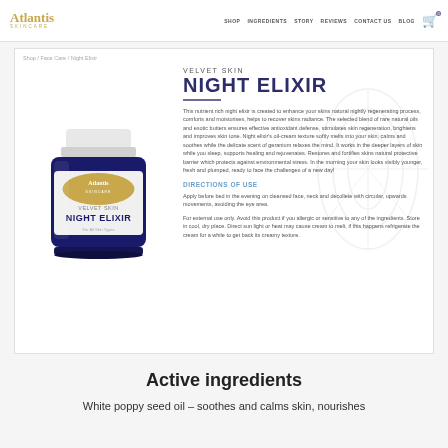Atlantis Skincare | SHOP | INGREDIENTS | STORY | REVIEWS | CONTACT US | BLOG
Shop / Face Care / Night Elixir
[Figure (photo): Atlantis Skincare Velvet Skin Night Elixir cream jar with white lid and blue/gold branding]
VELVET SKIN
NIGHT ELIXIR
This nutrient rich night elixir is created to enhance your skins natural nightly regenerating process, comforts and moisturises, helps to recover skins radiance. The selected blend of rare natural oils and exotic butters ensures effective antioxidant defense, stimulates skin regeneration, brightens and improves skin tone. Night elixir's oil-cream texture softly melts into your skin, calms and soothes while the delicate scent of geranium relaxes the mind. It works in the deeper layers of skin while you sleep, supports healing and rejuvenates. Restores and fortifies skins natural protective barrier which protects against environmental stress. In the morning your skin looks visibly younger, fresh and plumped, ready to face the challenges of a new day!
DIRECTIONS OF USE
Apply before bed in the evening on cleansed face, neck and decollete with circular, upwards movements, avoiding the eye area.
For external use only. Avoid this product if you allergic or sensitive to any of the ingredients. Store in cool, dry place. Direct sun light or heat may cause cream to melt, if this happens refrigerate the cream for a while to get back its creamy texture.
Active ingredients
White poppy seed oil – soothes and calms skin, nourishes